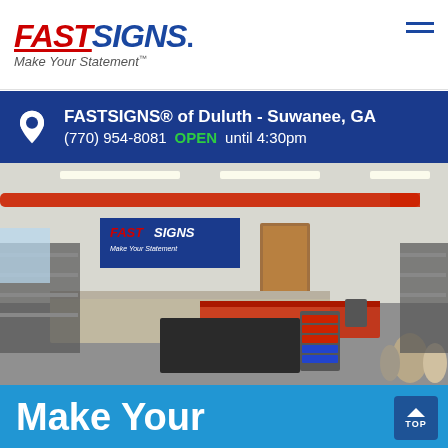[Figure (logo): FASTSIGNS logo with red italic FAST and blue italic SIGNS text, dot after SIGNS, tagline Make Your Statement below]
FASTSIGNS® of Duluth - Suwanee, GA
(770) 954-8081   OPEN until 4:30pm
[Figure (photo): Interior of FASTSIGNS store/production facility showing large format printing equipment, cutting tables, material rolls, and the FASTSIGNS Make Your Statement banner on the wall]
Make Your